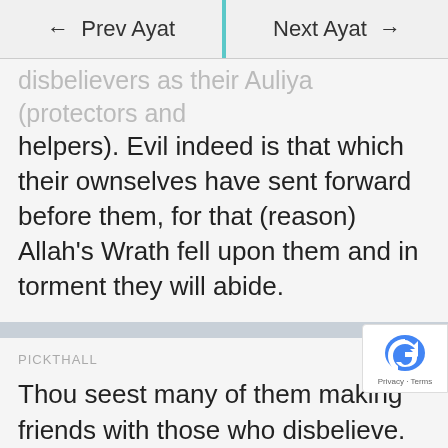← Prev Ayat | Next Ayat →
disbelievers as their Auliya (protectors and helpers). Evil indeed is that which their ownselves have sent forward before them, for that (reason) Allah's Wrath fell upon them and in torment they will abide.
PICKTHALL
Thou seest many of them making friends with those who disbelieve. Surely ill for them is that which they themselves send on before them: that Allah will be wroth with them and in the doom they will abide.
DR. GHALI